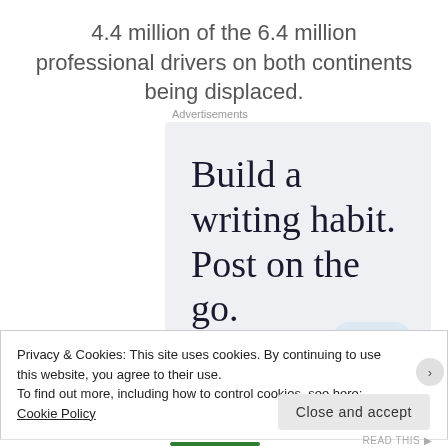4.4 million of the 6.4 million professional drivers on both continents being displaced.
Advertisements
[Figure (other): WordPress app advertisement with text 'Build a writing habit. Post on the go.' and a 'GET THE APP' call to action with WordPress logo icon.]
Privacy & Cookies: This site uses cookies. By continuing to use this website, you agree to their use.
To find out more, including how to control cookies, see here: Cookie Policy
Close and accept